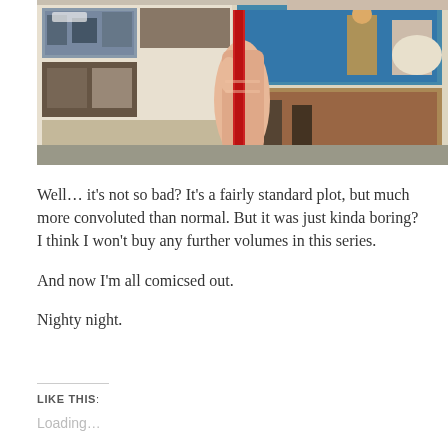[Figure (photo): A hand holding open a comic book or graphic novel, showing colorful illustrated panels with scenes of characters in various settings. The book is open to reveal two pages of comic artwork.]
Well… it's not so bad? It's a fairly standard plot, but much more convoluted than normal. But it was just kinda boring? I think I won't buy any further volumes in this series.
And now I'm all comicsed out.
Nighty night.
LIKE THIS:
Loading…